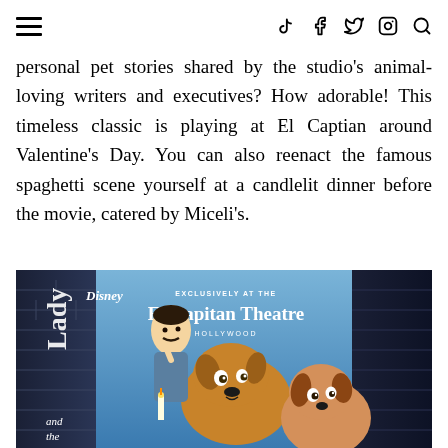≡ [hamburger menu] | [tiktok] [facebook] [twitter] [instagram] [search]
personal pet stories shared by the studio's animal-loving writers and executives? How adorable! This timeless classic is playing at El Captian around Valentine's Day. You can also reenact the famous spaghetti scene yourself at a candlelit dinner before the movie, catered by Miceli's.
[Figure (photo): Disney Lady and the Tramp movie poster for El Capitan Theatre Hollywood. Shows animated dogs Lady and Tramp with the waiter character, text reads: Disney, Exclusively At The El Capitan Theatre Hollywood, Lady and the Tramp]